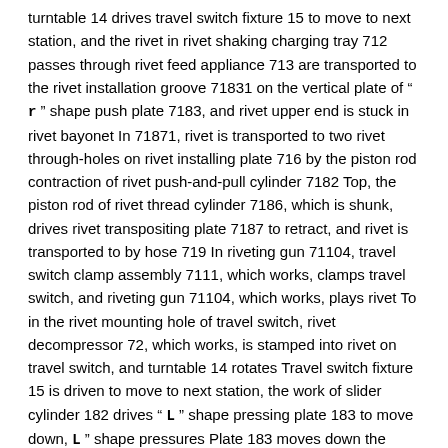turntable 14 drives travel switch fixture 15 to move to next station, and the rivet in rivet shaking charging tray 712 passes through rivet feed appliance 713 are transported to the rivet installation groove 71831 on the vertical plate of " r " shape push plate 7183, and rivet upper end is stuck in rivet bayonet In 71871, rivet is transported to two rivet through-holes on rivet installing plate 716 by the piston rod contraction of rivet push-and-pull cylinder 7182 Top, the piston rod of rivet thread cylinder 7186, which is shunk, drives rivet transpositing plate 7187 to retract, and rivet is transported to by hose 719 In riveting gun 71104, travel switch clamp assembly 7111, which works, clamps travel switch, and riveting gun 71104, which works, plays rivet To in the rivet mounting hole of travel switch, rivet decompressor 72, which works, is stamped into rivet on travel switch, and turntable 14 rotates Travel switch fixture 15 is driven to move to next station, the work of slider cylinder 182 drives " L " shape pressing plate 183 to move down, L " shape pressures Plate 183 moves down the contact part of detection travel switch, and the rotation of turntable 14 drives travel switch fixture 15 to move to next station, pushes and pulls The piston rod stretching, extension of cylinder 172 drives push plate 173 to move,